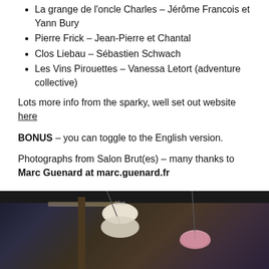La grange de l'oncle Charles – Jérôme Francois et Yann Bury
Pierre Frick – Jean-Pierre et Chantal
Clos Liebau – Sébastien Schwach
Les Vins Pirouettes – Vanessa Letort (adventure collective)
Lots more info from the sparky, well set out website here
BONUS – you can toggle to the English version.
Photographs from Salon Brut(es) – many thanks to Marc Guenard at marc.guenard.fr
[Figure (photo): Interior photograph of what appears to be a bar or restaurant venue with hanging pendant lamps visible against a dark ceiling]